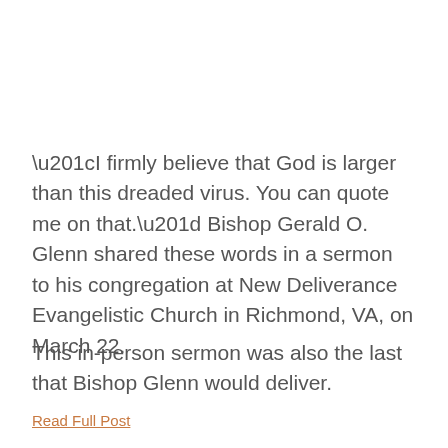“I firmly believe that God is larger than this dreaded virus. You can quote me on that.” Bishop Gerald O. Glenn shared these words in a sermon to his congregation at New Deliverance Evangelistic Church in Richmond, VA, on March 22.
This in-person sermon was also the last that Bishop Glenn would deliver.
Read Full Post